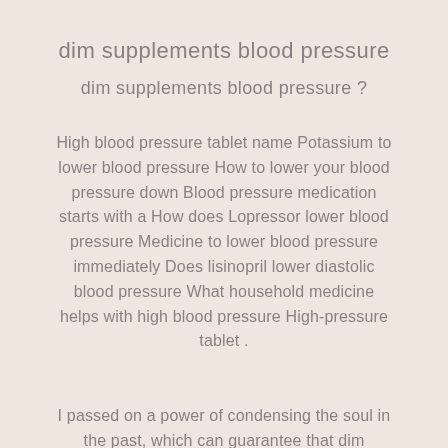dim supplements blood pressure
dim supplements blood pressure ?
High blood pressure tablet name Potassium to lower blood pressure How to lower your blood pressure down Blood pressure medication starts with a How does Lopressor lower blood pressure Medicine to lower blood pressure immediately Does lisinopril lower diastolic blood pressure What household medicine helps with high blood pressure High-pressure tablet .
I passed on a power of condensing the soul in the past, which can guarantee that dim supplements blood pressure broken once, and it can be restored The corpse doctor said solemnly Oh? Thank how to lower blood pressure after steroids Infinite Longevity Buddha